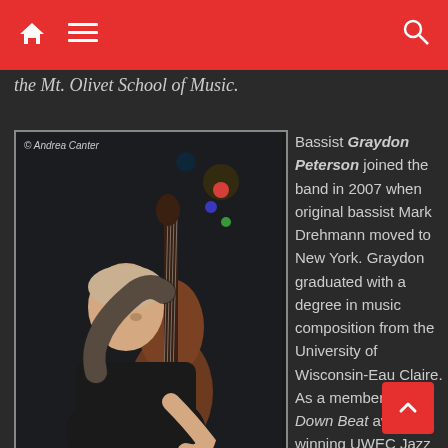Navigation bar with home, menu, and search icons
the Mt. Olivet School of Music.
[Figure (photo): Photo of bassist Graydon Peterson playing upright bass, credited to Andrea Canter]
Graydon Peterson © Andrea Canter
Bassist Graydon Peterson joined the band in 2007 when original bassist Mark Drehmann moved to New York. Graydon graduated with a degree in music composition from the University of Wisconsin-Eau Claire. As a member of the Down Beat award-winning UWEC Jazz Ensemble I, he performed with such guest jazz artists as Lewis Nash, Ingrid Jensen, Jason Marsalis, Chris Botti, and Christian McBride. In Minneapolis, Peterson is a first-